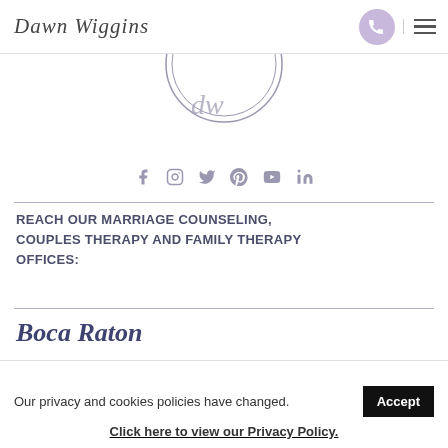Dawn Wiggins
[Figure (logo): Circular logo partially visible at top center]
[Figure (infographic): Social media icons row: Facebook, Instagram, Twitter, Pinterest, YouTube, LinkedIn]
REACH OUR MARRIAGE COUNSELING, COUPLES THERAPY AND FAMILY THERAPY OFFICES:
Boca Raton
Our privacy and cookies policies have changed.
Click here to view our Privacy Policy.